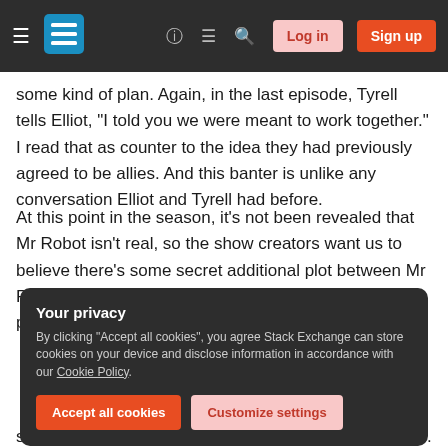Stack Exchange navigation bar with hamburger menu, logo, help, chat, search, Log in, Sign up buttons
some kind of plan. Again, in the last episode, Tyrell tells Elliot, "I told you we were meant to work together." I read that as counter to the idea they had previously agreed to be allies. And this banter is unlike any conversation Elliot and Tyrell had before.
At this point in the season, it's not been revealed that Mr Robot isn't real, so the show creators want us to believe there's some secret additional plot between Mr Robot and Tyrell. But it seems to me that this never pans out in any real way.
Your privacy
By clicking "Accept all cookies", you agree Stack Exchange can store cookies on your device and disclose information in accordance with our Cookie Policy.
Accept all cookies   Customize settings
someone else, who for some reason is also Mr Robot...